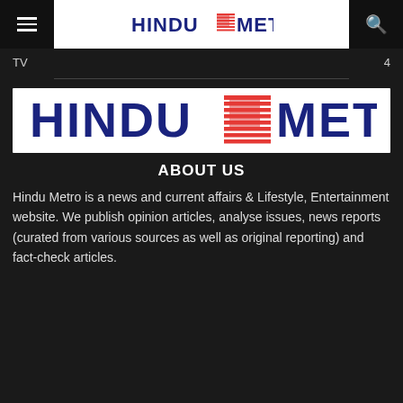HINDU METRO
TV	4
[Figure (logo): Hindu Metro logo — large blue bold text 'HINDU METRO' with a red striped newspaper icon between the two words, on white background]
ABOUT US
Hindu Metro is a news and current affairs & Lifestyle, Entertainment website. We publish opinion articles, analyse issues, news reports (curated from various sources as well as original reporting) and fact-check articles.